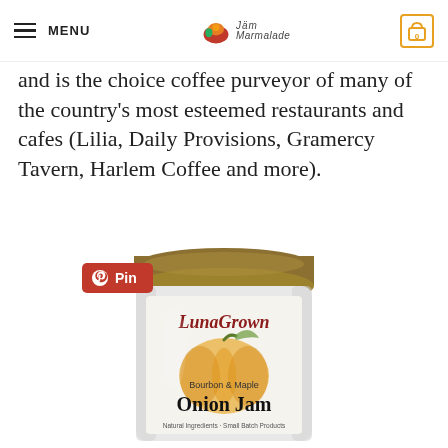MENU | Jam Marmalade logo | 0
and is the choice coffee purveyor of many of the country's most esteemed restaurants and cafes (Lilia, Daily Provisions, Gramercy Tavern, Harlem Coffee and more).
[Figure (photo): A jar of LunaGrown Bourbon & Maple Onion Jam with a gold lid, white label with script text and pumpkin illustration, Natural Ingredients Small Batch Products text at bottom. A red Pinterest Pin button overlay is visible in the upper left of the image.]